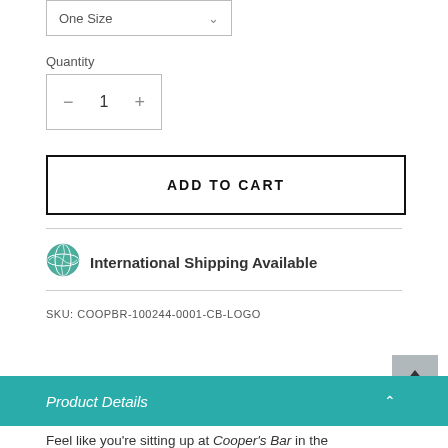One Size
Quantity
1
ADD TO CART
[Figure (illustration): Globe/earth emoji icon for international shipping]
International Shipping Available
SKU: COOPBR-100244-0001-CB-LOGO
Product Details
Feel like you're sitting up at Cooper's Bar in the